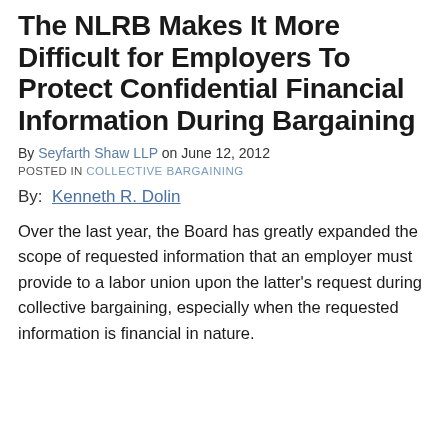The NLRB Makes It More Difficult for Employers To Protect Confidential Financial Information During Bargaining
By Seyfarth Shaw LLP on June 12, 2012
POSTED IN COLLECTIVE BARGAINING
By:  Kenneth R. Dolin
Over the last year, the Board has greatly expanded the scope of requested information that an employer must provide to a labor union upon the latter's request during collective bargaining, especially when the requested information is financial in nature.